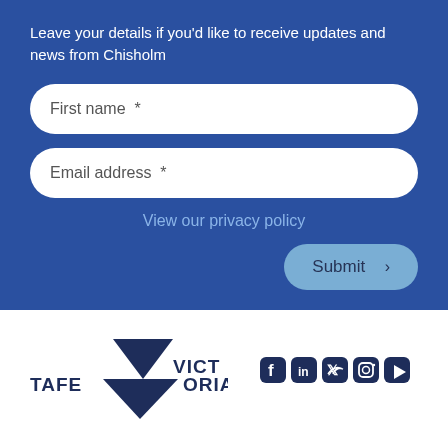Leave your details if you'd like to receive updates and news from Chisholm
First name  *
Email address  *
View our privacy policy
Submit
[Figure (logo): TAFE Victoria logo with dark blue downward-pointing triangle and text TAFE VICTORIA]
[Figure (infographic): Social media icons: Facebook, LinkedIn, Twitter, Instagram, YouTube in dark navy color]